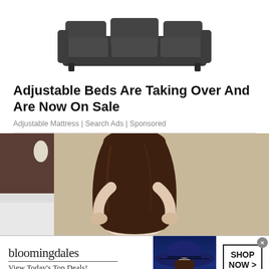[Figure (photo): Dark gray sectional sofa photographed from above/front angle against white background]
Adjustable Beds Are Taking Over And Are Now On Sale
Adjustable Mattress | Search Ads | Sponsored
[Figure (photo): Woman with long brown hair wearing white top, standing in a bedroom, viewed from behind]
[Figure (photo): Bloomingdales advertisement banner: bloomingdales logo, View Today's Top Deals!, woman wearing large blue hat, SHOP NOW > button]